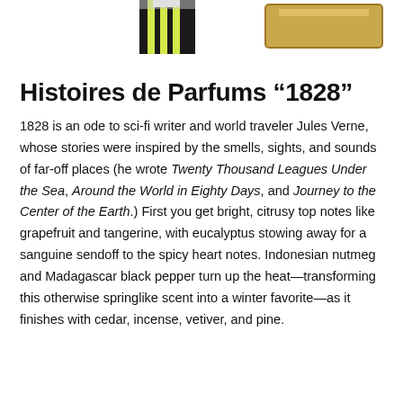[Figure (photo): Partial view of two product bottles/packages at the top of the page, partially cropped. One appears to have a black and yellow-green striped design.]
Histoires de Parfums ‘1828’
1828 is an ode to sci-fi writer and world traveler Jules Verne, whose stories were inspired by the smells, sights, and sounds of far-off places (he wrote Twenty Thousand Leagues Under the Sea, Around the World in Eighty Days, and Journey to the Center of the Earth.) First you get bright, citrusy top notes like grapefruit and tangerine, with eucalyptus stowing away for a sanguine sendoff to the spicy heart notes. Indonesian nutmeg and Madagascar black pepper turn up the heat—transforming this otherwise springlike scent into a winter favorite—as it finishes with cedar, incense, vetiver, and pine.